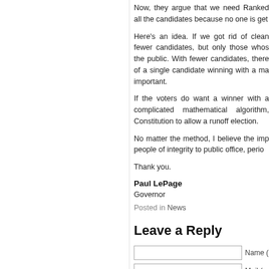Now, they argue that we need Ranked all the candidates because no one is get
Here's an idea. If we got rid of clean fewer candidates, but only those whos the public. With fewer candidates, there of a single candidate winning with a ma important.
If the voters do want a winner with a complicated mathematical algorithm, Constitution to allow a runoff election.
No matter the method, I believe the imp people of integrity to public office, perio
Thank you.
Paul LePage
Governor
Posted in News
Leave a Reply